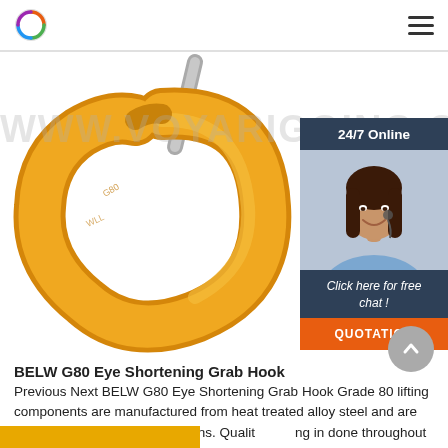www.voyarigging.com — logo and navigation
[Figure (photo): Yellow G80 eye shortening grab hook on white background with visible shank and curved body]
[Figure (photo): 24/7 Online live chat widget with photo of female customer support agent wearing headset, 'Click here for free chat!' call-to-action, and orange QUOTATION button]
BELW G80 Eye Shortening Grab Hook
Previous Next BELW G80 Eye Shortening Grab Hook Grade 80 lifting components are manufactured from heat treated alloy steel and are ideal for heavy lifting applications. Quality in done throughout the manufacturing process. These components also carry distinguishing marks for easy identification. ufeffProduct code Chain Size WLL e b...